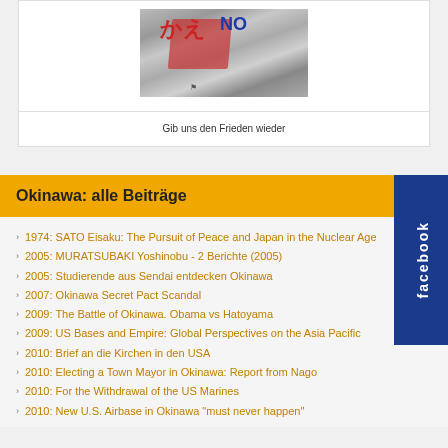[Figure (photo): Photo of a protest sign with Japanese characters, partially visible, held by a person on a street]
Gib uns den Frieden wieder
Okinawa: alle Beiträge
1974: SATO Eisaku: The Pursuit of Peace and Japan in the Nuclear Age
2005: MURATSUBAKI Yoshinobu - 2 Berichte (2005)
2005: Studierende aus Sendai entdecken Okinawa
2007: Okinawa Secret Pact Scandal
2009: The Battle of Okinawa. Obama vs Hatoyama
2009: US Bases and Empire: Global Perspectives on the Asia Pacific
2010: Brief an die Kirchen in den USA
2010: Electing a Town Mayor in Okinawa: Report from Nago
2010: For the Withdrawal of the US Marines
2010: New U.S. Airbase in Okinawa "must never happen"